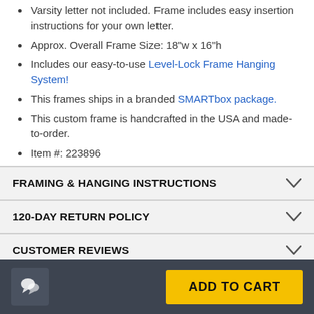Varsity letter not included. Frame includes easy insertion instructions for your own letter.
Approx. Overall Frame Size: 18"w x 16"h
Includes our easy-to-use Level-Lock Frame Hanging System!
This frames ships in a branded SMARTbox package.
This custom frame is handcrafted in the USA and made-to-order.
Item #: 223896
FRAMING & HANGING INSTRUCTIONS
120-DAY RETURN POLICY
CUSTOMER REVIEWS